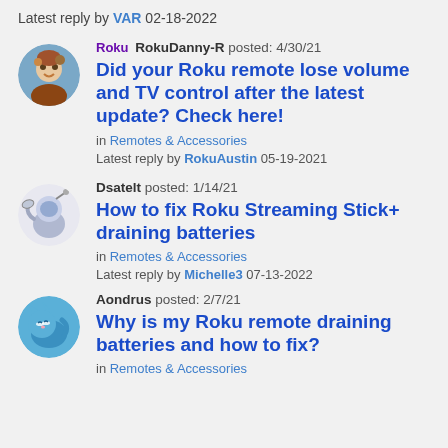Latest reply by VAR 02-18-2022
Roku RokuDanny-R posted: 4/30/21
Did your Roku remote lose volume and TV control after the latest update? Check here!
in Remotes & Accessories
Latest reply by RokuAustin 05-19-2021
Dsatelt posted: 1/14/21
How to fix Roku Streaming Stick+ draining batteries
in Remotes & Accessories
Latest reply by Michelle3 07-13-2022
Aondrus posted: 2/7/21
Why is my Roku remote draining batteries and how to fix?
in Remotes & Accessories